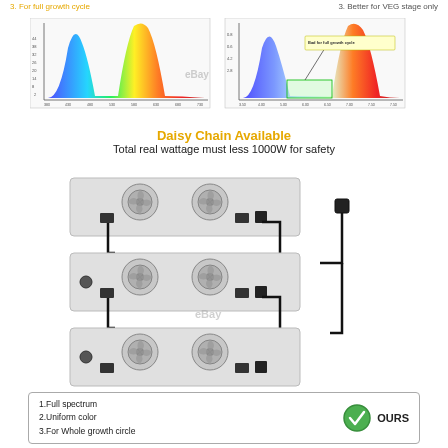3. For full growth cycle
3. Better for VEG stage only
[Figure (continuous-plot): Two spectral distribution charts side by side showing wavelength vs intensity. Left chart shows a full spectrum with blue and red peaks. Right chart shows a spectrum with a note 'Bad for full growth cycle' with a green gap highlighted.]
Daisy Chain Available
Total real wattage must less 1000W for safety
[Figure (schematic): Daisy chain wiring diagram showing three LED grow light panels connected in series with cables, and a power plug connecting to a wall outlet on the right side.]
[Figure (infographic): Bottom comparison box showing: 1.Full spectrum 2.Uniform color 3.For Whole growth circle, with a green checkmark circle and OURS label]